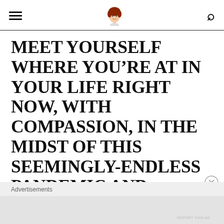≡  [logo icon]  🔍
MEET YOURSELF WHERE YOU'RE AT IN YOUR LIFE RIGHT NOW, WITH COMPASSION, IN THE MIDST OF THIS SEEMINGLY-ENDLESS PANDEMIC AND GLOBAL CLIMATE CRISIS, AT WHAT SEEMS AT TIMES LIKE THE END OF THE WORLD.
Advertisements